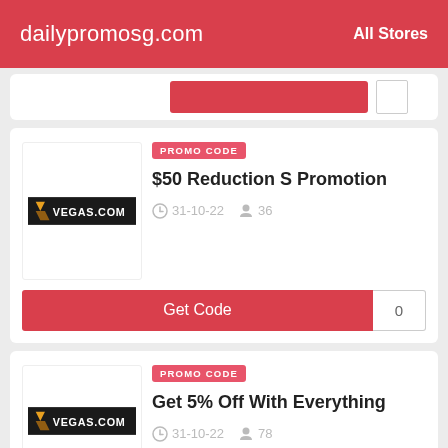dailypromosg.com   All Stores
PROMO CODE
$50 Reduction S Promotion
31-10-22   36
Get Code   0
PROMO CODE
Get 5% Off With Everything
31-10-22   78